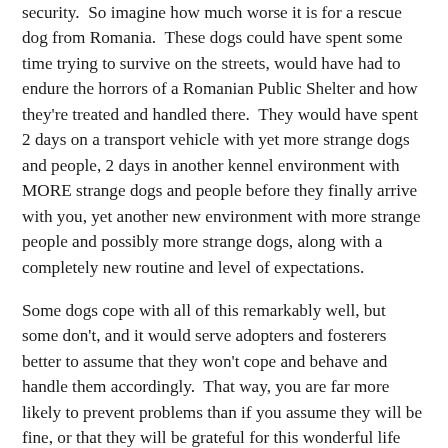security.  So imagine how much worse it is for a rescue dog from Romania.  These dogs could have spent some time trying to survive on the streets, would have had to endure the horrors of a Romanian Public Shelter and how they're treated and handled there.  They would have spent 2 days on a transport vehicle with yet more strange dogs and people, 2 days in another kennel environment with MORE strange dogs and people before they finally arrive with you, yet another new environment with more strange people and possibly more strange dogs, along with a completely new routine and level of expectations.
Some dogs cope with all of this remarkably well, but some don't, and it would serve adopters and fosterers better to assume that they won't cope and behave and handle them accordingly.  That way, you are far more likely to prevent problems than if you assume they will be fine, or that they will be grateful for this wonderful life you have offered them and don't provide them with the necessary consistency, boundaries and structure that they